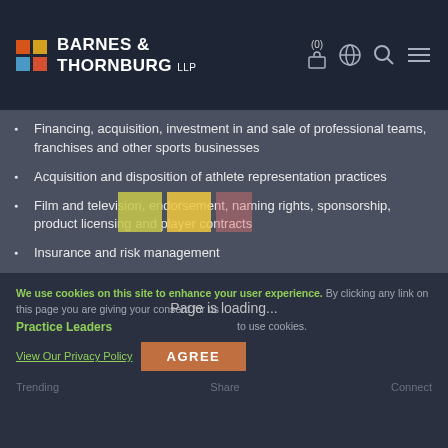Barnes & Thornburg LLP
Financing, acquisition, investment in and sale of professional teams, franchises and other sports businesses
Acquisition and disposition of athlete representation practices
Film and television, endorsement, naming rights, sponsorship, product licensing and player contracts
Insurance and risk management
Event operations; stadium and arena construction, leasing and financing; naming rights; and tax matters
Page is loading...
We use cookies on this site to enhance your user experience. By clicking any link on this page you are giving your consent for us to use cookies. Practice Leaders | View Our Privacy Policy | AGREE | Trending | Share | Connect